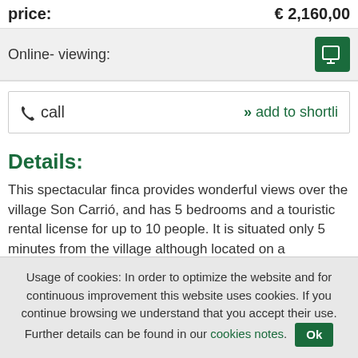price: € 2,160,00
Online- viewing:
call  »» add to shortli
Details:
This spectacular finca provides wonderful views over the village Son Carrió, and has 5 bedrooms and a touristic rental license for up to 10 people. It is situated only 5 minutes from the village although located on a wonderfully tranquil and beautiful plot of land, inviting to relax and enjoy the Mediterranean way of life.
Usage of cookies: In order to optimize the website and for continuous improvement this website uses cookies. If you continue browsing we understand that you accept their use. Further details can be found in our cookies notes. Ok